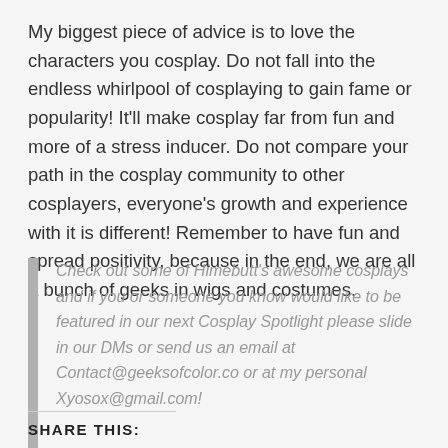My biggest piece of advice is to love the characters you cosplay. Do not fall into the endless whirlpool of cosplaying to gain fame or popularity! It'll make cosplay far from fun and more of a stress inducer. Do not compare your path in the cosplay community to other cosplayers, everyone's growth and experience with it is different! Remember to have fun and spread positivity, because in the end, we are all a bunch of geeks in wigs and costumes.
Check out some of Himebutt's awesome cosplays and if you or someone you know would like to be featured in our next Cosplay Spotlight please slide in our DMs or send us an email at Contact@geeksofcolor.co or at my personal Xyosox@gmail.com!
SHARE THIS: